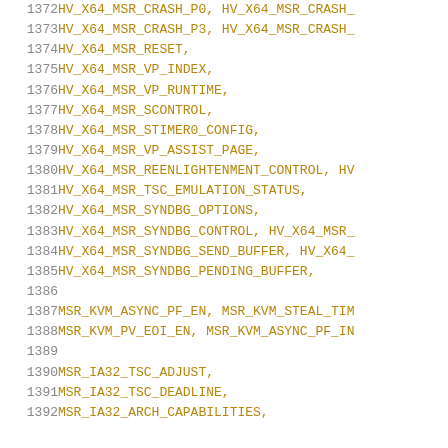1372  HV_X64_MSR_CRASH_P0, HV_X64_MSR_CRASH_
1373  HV_X64_MSR_CRASH_P3, HV_X64_MSR_CRASH_
1374  HV_X64_MSR_RESET,
1375  HV_X64_MSR_VP_INDEX,
1376  HV_X64_MSR_VP_RUNTIME,
1377  HV_X64_MSR_SCONTROL,
1378  HV_X64_MSR_STIMER0_CONFIG,
1379  HV_X64_MSR_VP_ASSIST_PAGE,
1380  HV_X64_MSR_REENLIGHTENMENT_CONTROL, HV
1381  HV_X64_MSR_TSC_EMULATION_STATUS,
1382  HV_X64_MSR_SYNDBG_OPTIONS,
1383  HV_X64_MSR_SYNDBG_CONTROL, HV_X64_MSR_
1384  HV_X64_MSR_SYNDBG_SEND_BUFFER, HV_X64_
1385  HV_X64_MSR_SYNDBG_PENDING_BUFFER,
1386
1387  MSR_KVM_ASYNC_PF_EN, MSR_KVM_STEAL_TIM
1388  MSR_KVM_PV_EOI_EN, MSR_KVM_ASYNC_PF_IN
1389
1390  MSR_IA32_TSC_ADJUST,
1391  MSR_IA32_TSC_DEADLINE,
1392  MSR_IA32_ARCH_CAPABILITIES,